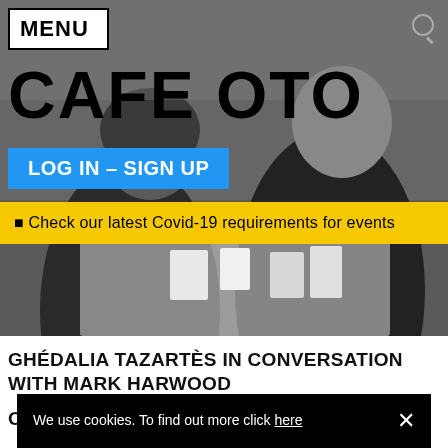MENU
[Figure (photo): Black and white photograph of two people seated at a table in conversation, with cups and glasses on the table. A large 'CAFE OTO' logotype is overlaid on the photo. A blue 'LOG IN – SIGN UP' button and yellow Covid-19 information banner are also overlaid.]
GHÉDALIA TAZARTÈS IN CONVERSATION WITH MARK HARWOOD
OTOROKU
We use cookies. To find out more click here